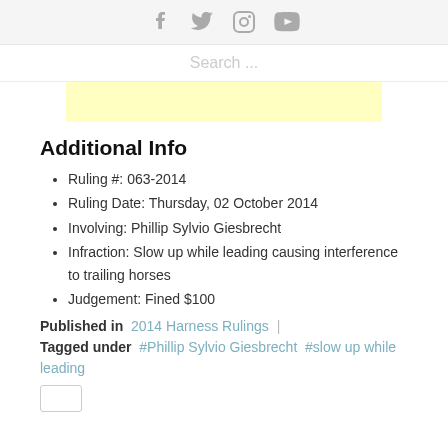Social icons: Facebook, Twitter, Instagram, YouTube
Search ...
[Figure (other): Yellow highlighted bar (advertisement or banner placeholder)]
Additional Info
Ruling #: 063-2014
Ruling Date: Thursday, 02 October 2014
Involving: Phillip Sylvio Giesbrecht
Infraction: Slow up while leading causing interference to trailing horses
Judgement: Fined $100
Published in 2014 Harness Rulings
Tagged under #Phillip Sylvio Giesbrecht #slow up while leading